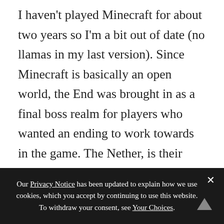I haven't played Minecraft for about two years so I'm a bit out of date (no llamas in my last version). Since Minecraft is basically an open world, the End was brought in as a final boss realm for players who wanted an ending to work towards in the game. The Nether, is their 'hell' world, and it's basically a place to go for resources you can't get in the overworld. You make a portal that you can pass back and forth between (unlike the End which has a one way portal until you kill the dragon). If Cassie's making potions she's already been to the Nether. If she starts playing on a desktop she can get into mods, additions players have put together that add a lot more options to the
Our Privacy Notice has been updated to explain how we use cookies, which you accept by continuing to use this website. To withdraw your consent, see Your Choices.